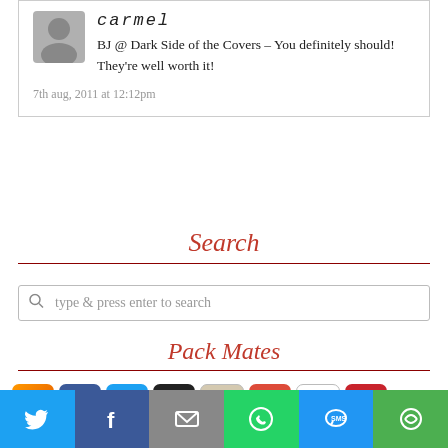carmel
BJ @ Dark Side of the Covers – You definitely should! They're well worth it!
7th aug, 2011 at 12:12pm
Search
type & press enter to search
Pack Mates
[Figure (infographic): Row of social media icons (RSS, Facebook, Twitter, Amazon, Goodreads, Google+, Readerly, Pinterest) with follower counts 36810, 5520, 4776, 4531, 3078, 3072, 1816, 1815]
[Figure (infographic): Social sharing bar at bottom with Twitter, Facebook, Email, WhatsApp, SMS, and More icons]